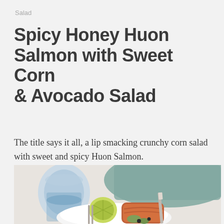Salad
Spicy Honey Huon Salmon with Sweet Corn & Avocado Salad
The title says it all, a lip smacking crunchy corn salad with sweet and spicy Huon Salmon.
[Figure (photo): A plate of salmon with lime wedge and avocado salad, a blue glass of water, a knife, and a teal linen napkin on a light surface.]